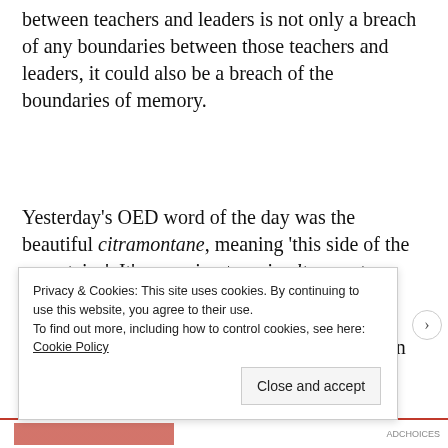between teachers and leaders is not only a breach of any boundaries between those teachers and leaders, it could also be a breach of the boundaries of memory.
Yesterday's OED word of the day was the beautiful citramontane, meaning 'this side of the mountains'. It's opposing term is ultramontane: 'the other side of the mountains'.
The decisions and comments made by people in positions of
Privacy & Cookies: This site uses cookies. By continuing to use this website, you agree to their use.
To find out more, including how to control cookies, see here: Cookie Policy